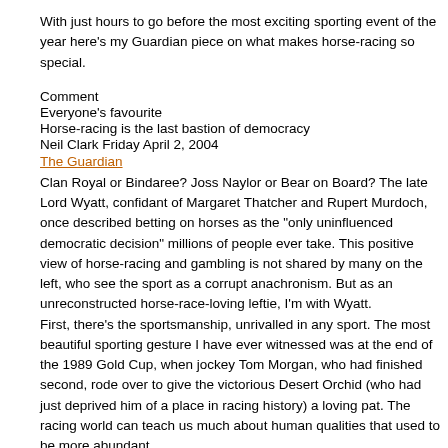With just hours to go before the most exciting sporting event of the year here's my Guardian piece on what makes horse-racing so special.
Comment
Everyone's favourite
Horse-racing is the last bastion of democracy
Neil Clark Friday April 2, 2004
The Guardian
Clan Royal or Bindaree? Joss Naylor or Bear on Board? The late Lord Wyatt, confidant of Margaret Thatcher and Rupert Murdoch, once described betting on horses as the "only uninfluenced democratic decision" millions of people ever take. This positive view of horse-racing and gambling is not shared by many on the left, who see the sport as a corrupt anachronism. But as an unreconstructed horse-race-loving leftie, I'm with Wyatt.
First, there's the sportsmanship, unrivalled in any sport. The most beautiful sporting gesture I have ever witnessed was at the end of the 1989 Gold Cup, when jockey Tom Morgan, who had finished second, rode over to give the victorious Desert Orchid (who had just deprived him of a place in racing history) a loving pat. The racing world can teach us much about human qualities that used to be more abundant.
Remember loyalty? In an age in which all relationships seem freely tradeable, it's refreshing to consider the most enduring partnership in British sport: the...